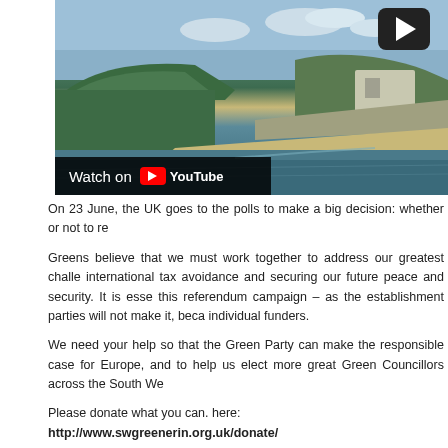[Figure (screenshot): YouTube video thumbnail showing a coastal landscape with trees, a beach, and water. A play button is visible in the top right. A 'Watch on YouTube' bar is shown at the bottom left of the video.]
On 23 June, the UK goes to the polls to make a big decision: whether or not to re
Greens believe that we must work together to address our greatest challe international tax avoidance and securing our future peace and security. It is esse this referendum campaign – as the establishment parties will not make it, beca individual funders.
We need your help so that the Green Party can make the responsible case for Europe, and to help us elect more great Green Councillors across the South We
Please donate what you can. here:
http://www.swgreenerin.org.uk/donate/
Any surplus funds raised and not used for the Greener In referendum campaign European Parliamentary election campaign fund and Green Party South We activity in the South West.